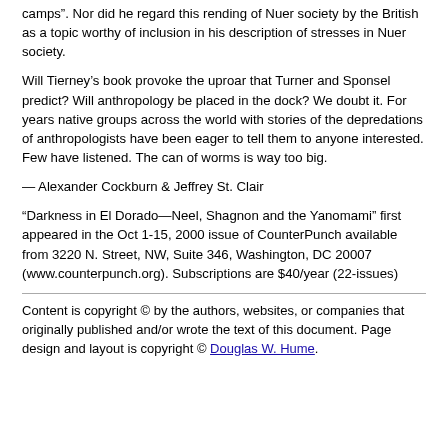camps". Nor did he regard this rending of Nuer society by the British as a topic worthy of inclusion in his description of stresses in Nuer society.
Will Tierney’s book provoke the uproar that Turner and Sponsel predict? Will anthropology be placed in the dock? We doubt it. For years native groups across the world with stories of the depredations of anthropologists have been eager to tell them to anyone interested. Few have listened. The can of worms is way too big.
— Alexander Cockburn & Jeffrey St. Clair
“Darkness in El Dorado—Neel, Shagnon and the Yanomami” first appeared in the Oct 1-15, 2000 issue of CounterPunch available from 3220 N. Street, NW, Suite 346, Washington, DC 20007 (www.counterpunch.org). Subscriptions are $40/year (22-issues)
Content is copyright © by the authors, websites, or companies that originally published and/or wrote the text of this document. Page design and layout is copyright © Douglas W. Hume.